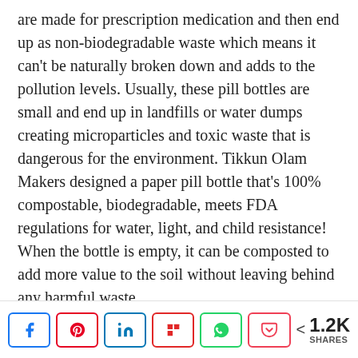are made for prescription medication and then end up as non-biodegradable waste which means it can't be naturally broken down and adds to the pollution levels. Usually, these pill bottles are small and end up in landfills or water dumps creating microparticles and toxic waste that is dangerous for the environment. Tikkun Olam Makers designed a paper pill bottle that's 100% compostable, biodegradable, meets FDA regulations for water, light, and child resistance! When the bottle is empty, it can be composted to add more value to the soil without leaving behind any harmful waste.
“The Prescription Paper Pill Bottle, a first of its kind, is 100% compostable and biodegradable. Its open-source design adheres to FDA regulations for durability, light, water, and child resistance. It’s available to any pharmacy
[Figure (infographic): Social media share buttons: Facebook, Pinterest, LinkedIn, Flipboard, WhatsApp, Pocket. Share count: 1.2K SHARES]